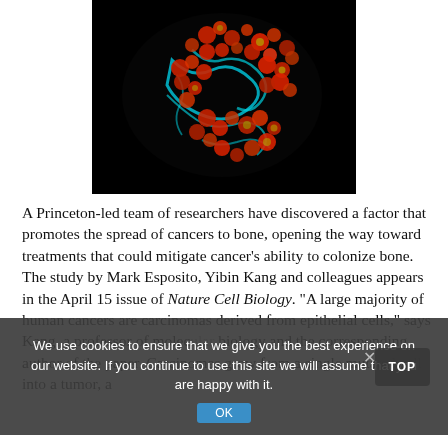[Figure (photo): Fluorescence microscopy image of cancer cells (red/orange) spreading with cyan fibrous structures on a black background, showing tumor colonization.]
A Princeton-led team of researchers have discovered a factor that promotes the spread of cancers to bone, opening the way toward treatments that could mitigate cancer's ability to colonize bone. The study by Mark Esposito, Yibin Kang and colleagues appears in the April 15 issue of Nature Cell Biology. "A large majority of human cancers are carcinomas derived from epithelial cells," says Kang, a professor of molecular biology and the corresponding author of the paper. Carcinomas grow from a single mutated cell into a tumor, a